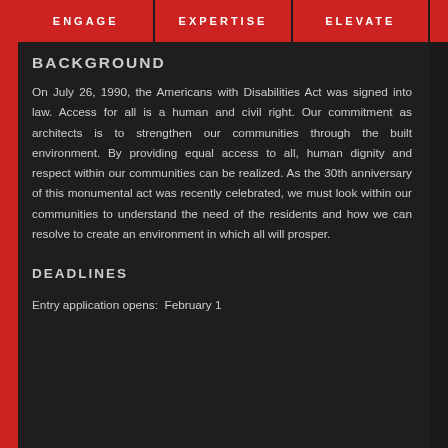ENGAGE  EXPERTISE  ELEVATE
BACKGROUND
On July 26, 1990, the Americans with Disabilities Act was signed into law. Access for all is a human and civil right. Our commitment as architects is to strengthen our communities through the built environment. By providing equal access to all, human dignity and respect within our communities can be realized. As the 30th anniversary of this monumental act was recently celebrated, we must look within our communities to understand the need of the residents and how we can resolve to create an environment in which all will prosper.
DEADLINES
Entry application opens:  February 1